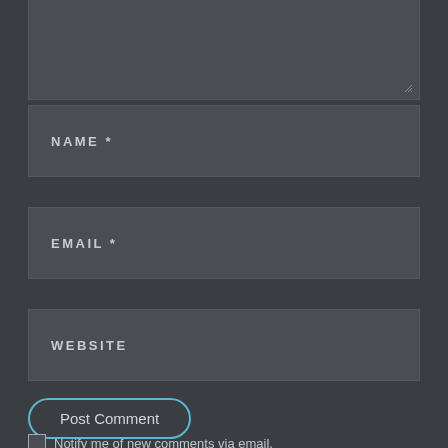[Figure (screenshot): A comment form with dark background showing a text area (partially visible at top with resize handle), followed by NAME *, EMAIL *, and WEBSITE input fields, a Post Comment button with cyan rounded border, and a Notify me of new comments via email checkbox at the bottom.]
NAME *
EMAIL *
WEBSITE
Post Comment
Notify me of new comments via email.